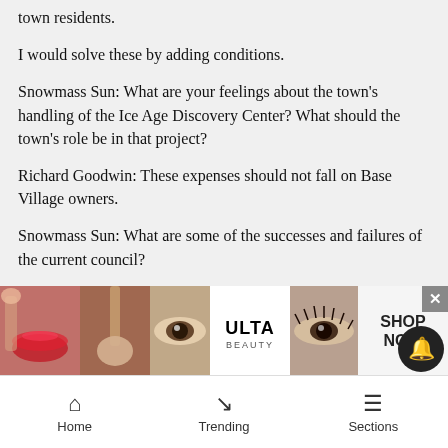town residents.
I would solve these by adding conditions.
Snowmass Sun: What are your feelings about the town's handling of the Ice Age Discovery Center? What should the town's role be in that project?
Richard Goodwin: These expenses should not fall on Base Village owners.
Snowmass Sun: What are some of the successes and failures of the current council?
Richard Goodwin: Failure: To not require bonding of all private and public construction at 150 percent of cost. No requirement for renewable energy as per RMI Ba... from n...
[Figure (photo): Advertisement banner for ULTA Beauty with cosmetic product images and SHOP NOW call-to-action]
Home   Trending   Sections